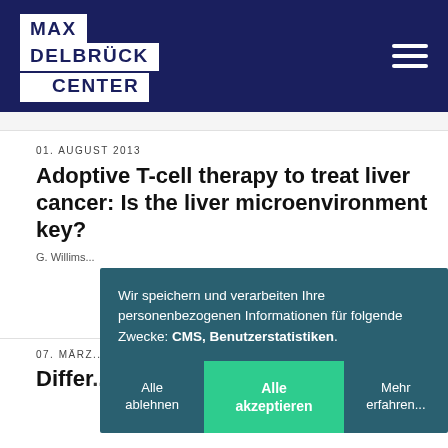[Figure (logo): Max Delbrück Center logo — white block lettering on dark navy blue header background]
01. AUGUST 2013
Adoptive T-cell therapy to treat liver cancer: Is the liver microenvironment key?
G. Willims...
07. MÄRZ...
Differ...
Wir speichern und verarbeiten Ihre personenbezogenen Informationen für folgende Zwecke: CMS, Benutzerstatistiken.
Alle ablehnen
Alle akzeptieren
Mehr erfahren...